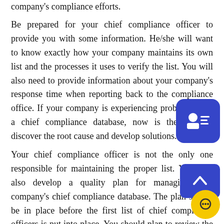company's compliance efforts.
Be prepared for your chief compliance officer to provide you with some information. He/she will want to know exactly how your company maintains its own list and the processes it uses to verify the list. You will also need to provide information about your company's response time when reporting back to the compliance office. If your company is experiencing problems with a chief compliance database, now is the time to discover the root cause and develop solutions.
Your chief compliance officer is not the only one responsible for maintaining the proper list. You may also develop a quality plan for managing your company's chief compliance database. The plan should be in place before the first list of chief compliance officers is put into place. You should plan to review the plan regularly to ensure that everything